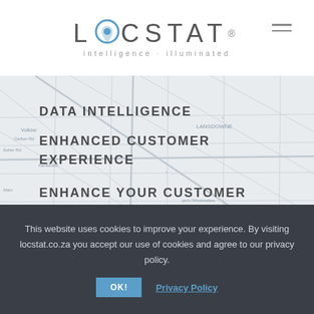[Figure (logo): LOCSTAT logo with location pin icon and tagline 'intelligence · illuminated']
[Figure (map): Street map background of Kenilworth/Lansdowne area in Cape Town, South Africa, shown in muted grey tones]
DATA INTELLIGENCE
ENHANCED CUSTOMER EXPERIENCE
ENHANCE YOUR CUSTOMER EXPERIENCE
This website uses cookies to improve your experience. By visiting locstat.co.za you accept our use of cookies and agree to our privacy policy.
OK!
Privacy Policy